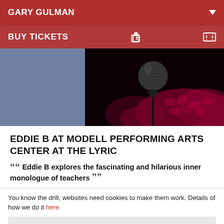GARY GULMAN
BUY TICKETS
[Figure (photo): Split image: left half is a muted blue-grey rectangle, right half shows a microphone on a stand against a dark background with blurred red/magenta theater seats in the lower right.]
EDDIE B AT MODELL PERFORMING ARTS CENTER AT THE LYRIC
““ Eddie B explores the fascinating and hilarious inner monologue of teachers ””
You know the drill, websites need cookies to make them work. Details of how we do it here.
Got it!